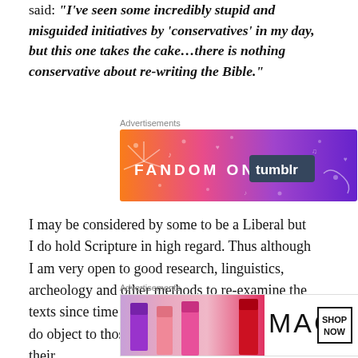said: “I’ve seen some incredibly stupid and misguided initiatives by ‘conservatives’ in my day, but this one takes the cake…there is nothing conservative about re-writing the Bible.”
Advertisements
[Figure (other): FANDOM ON tumblr advertisement banner with colorful gradient background (orange to purple) with doodles]
I may be considered by some to be a Liberal but I do hold Scripture in high regard. Thus although I am very open to good research, linguistics, archeology and other methods to re-examine the texts since time nor discovery knows no limits, I do object to those that re-write Scripture to fit their
Advertisements
[Figure (other): MAC cosmetics advertisement showing lipsticks with SHOP NOW button]